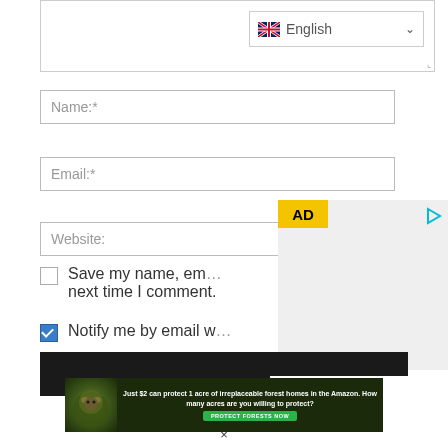[Figure (screenshot): Textarea input box with English language selector dropdown in top-right corner]
Name:*
Email:*
Website:
[Figure (screenshot): AD overlay banner with yellow AD badge and play button icon on gray background]
Save my name, em... next time I comment.
Notify me by email w...
[Figure (screenshot): Dark submit button bar]
[Figure (photo): Amazon forest advertisement banner: Just $2 can protect 1 acre of irreplaceable forest homes in the Amazon. How many acres are you willing to protect? PROTECT FORESTS NOW]
×